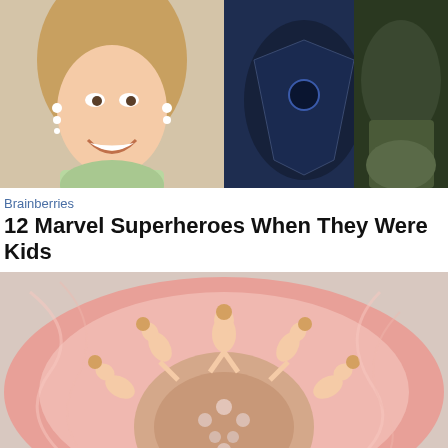[Figure (photo): Two photos side by side: left shows a smiling woman with earrings and blonde hair, right shows a dark action/superhero scene]
Brainberries
12 Marvel Superheroes When They Were Kids
[Figure (photo): An elaborate costume or art piece featuring Barbie dolls arranged in a radial pattern surrounded by pink feathers and rhinestones]
[Figure (photo): Advertisement for VENUS Women's Fashion with thumbnail showing website screenshot and model]
Women's Fashion | Shop Online | VENUS
Shop the best in women's fashion, clothing, swimwear
venus.com